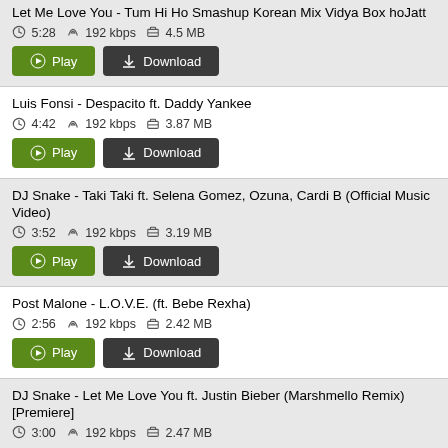Let Me Love You - Tum Hi Ho Smashup Korean Mix Vidya Box hoJatt
5:28  192 kbps  4.5 MB
Luis Fonsi - Despacito ft. Daddy Yankee
4:42  192 kbps  3.87 MB
DJ Snake - Taki Taki ft. Selena Gomez, Ozuna, Cardi B (Official Music Video)
3:52  192 kbps  3.19 MB
Post Malone - L.O.V.E. (ft. Bebe Rexha)
2:56  192 kbps  2.42 MB
DJ Snake - Let Me Love You ft. Justin Bieber (Marshmello Remix) [Premiere]
3:00  192 kbps  2.47 MB